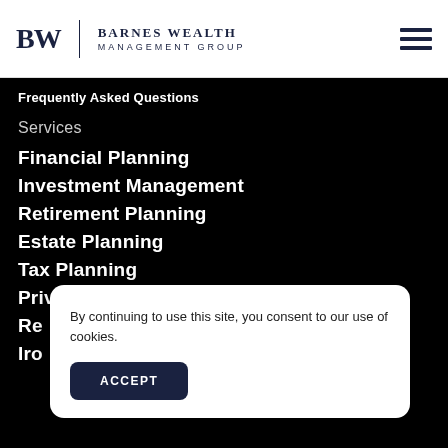Barnes Wealth Management Group
Frequently Asked Questions
Services
Financial Planning
Investment Management
Retirement Planning
Estate Planning
Tax Planning
Private Client Services
By continuing to use this site, you consent to our use of cookies.
ACCEPT